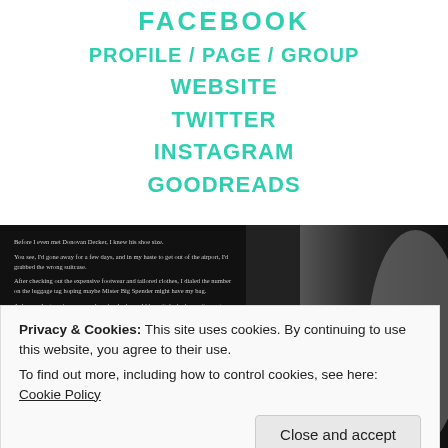FACEBOOK
PROFILE / PAGE / GROUP
WEBSITE
TWITTER
INSTAGRAM
GOODREADS
[Figure (photo): Black and white book cover image showing a man's face and book spine text 'THE SPA...' with excerpt text on the left side]
Privacy & Cookies: This site uses cookies. By continuing to use this website, you agree to their use.
To find out more, including how to control cookies, see here: Cookie Policy
Close and accept